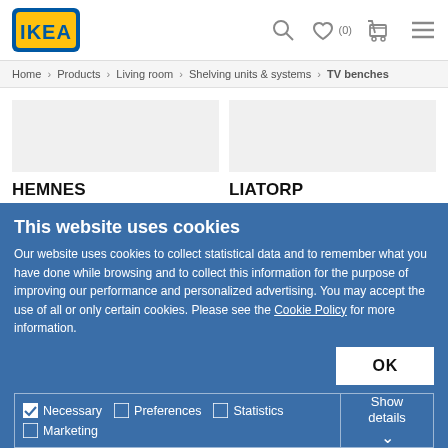IKEA logo, search icon, wishlist (0), cart, menu
Home > Products > Living room > Shelving units & systems > TV benches
HEMNES
TV bench, 148x47x57 cm, white stain
229 €
LIATORP
TV bench, 145x49x45 cm, white
229 €
This website uses cookies
Our website uses cookies to collect statistical data and to remember what you have done while browsing and to collect this information for the purpose of improving our performance and personalized advertising. You may accept the use of all or only certain cookies. Please see the Cookie Policy for more information.
OK
Necessary  Preferences  Statistics  Marketing  Show details